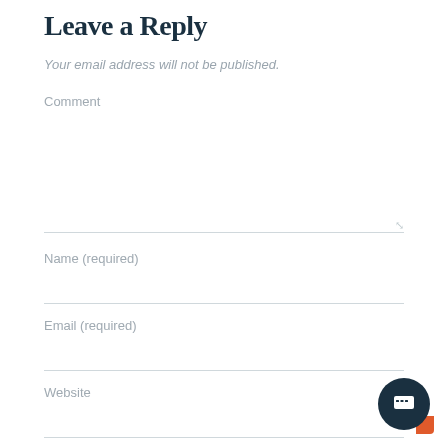Leave a Reply
Your email address will not be published.
Comment
Name (required)
Email (required)
Website
[Figure (illustration): Checkbox (unchecked) at the bottom of the form]